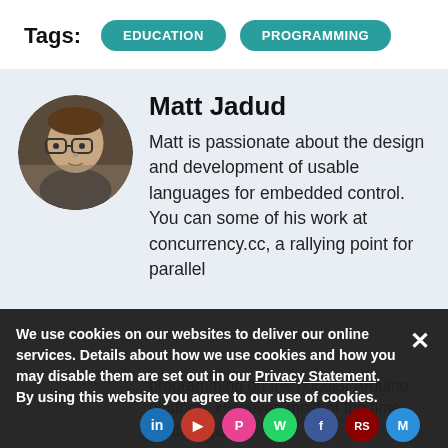Tags: EDUCATION PROGRAMMING
Matt Jadud
Matt is passionate about the design and development of usable languages for embedded control. You can some of his work at concurrency.cc, a rallying point for parallel programming on the popular Arduino platform. However, most of the time Matt keeps
We use cookies on our websites to deliver our online services. Details about how we use cookies and how you may disable them are set out in our Privacy Statement. By using this website you agree to our use of cookies.